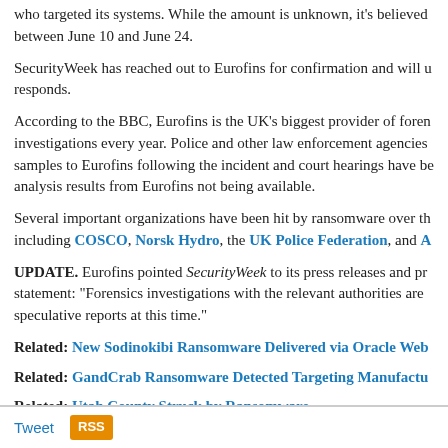who targeted its systems. While the amount is unknown, it's believed between June 10 and June 24.
SecurityWeek has reached out to Eurofins for confirmation and will update when it responds.
According to the BBC, Eurofins is the UK's biggest provider of forensic investigations every year. Police and other law enforcement agencies samples to Eurofins following the incident and court hearings have been analysis results from Eurofins not being available.
Several important organizations have been hit by ransomware over the past months, including COSCO, Norsk Hydro, the UK Police Federation, and A...
UPDATE. Eurofins pointed SecurityWeek to its press releases and provided a statement: “Forensics investigations with the relevant authorities are speculative reports at this time.”
Related: New Sodinokibi Ransomware Delivered via Oracle Web...
Related: GandCrab Ransomware Detected Targeting Manufactu...
Related: Utah County Struck by Ransomware
Tweet  RSS